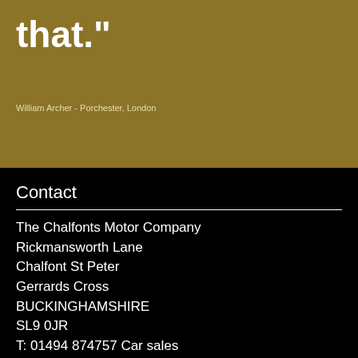that."
William Archer - Porchester, London
Contact
The Chalfonts Motor Company
Rickmansworth Lane
Chalfont St Peter
Gerrards Cross
BUCKINGHAMSHIRE
SL9 0JR
T: 01494 874757 Car sales
T: 01494 873877 Service department
F: 01494 874785
M: 07831 519239 After hours
E: info@chalfontmotor.co.uk
Our privacy policy >